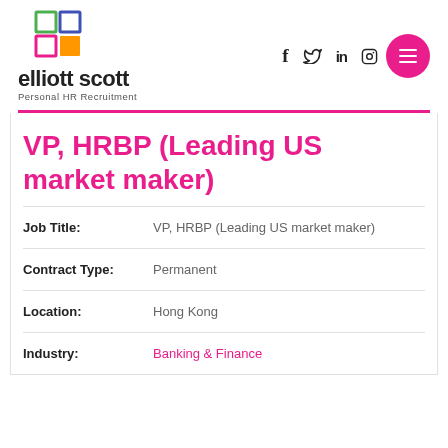[Figure (logo): Elliott Scott HR Recruitment logo with colorful squares and social media icons (Facebook, Twitter, LinkedIn, Instagram) and pink menu button]
VP, HRBP (Leading US market maker)
| Job Title: | VP, HRBP (Leading US market maker) |
| Contract Type: | Permanent |
| Location: | Hong Kong |
| Industry: | Banking & Finance |